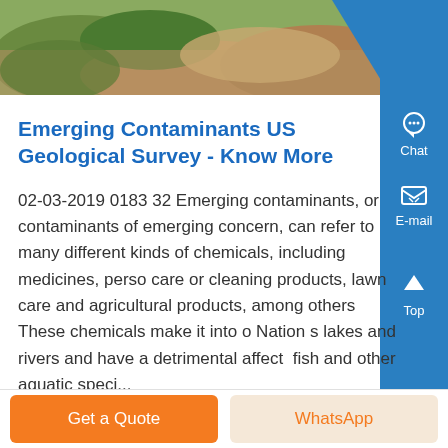[Figure (photo): Top strip photo showing natural scene with greenery and rocky/earthy terrain]
Emerging Contaminants US Geological Survey - Know More
02-03-2019 0183 32 Emerging contaminants, or contaminants of emerging concern, can refer to many different kinds of chemicals, including medicines, personal care or cleaning products, lawn care and agricultural products, among others These chemicals make it into our Nation s lakes and rivers and have a detrimental affect on fish and other aquatic speci...